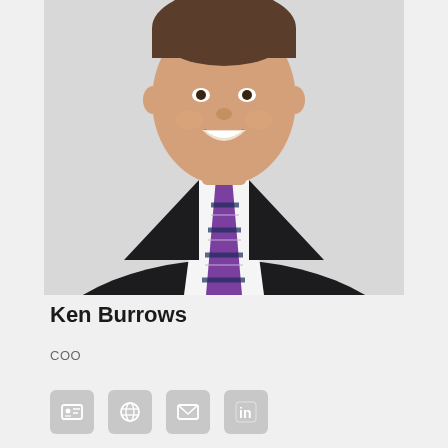[Figure (photo): Professional headshot of Ken Burrows, a man in a dark suit jacket, white dress shirt, and purple striped tie, smiling against a light background.]
Ken Burrows
COO
[Figure (infographic): Four social/contact icon buttons: contact card, globe/website, email envelope, LinkedIn]